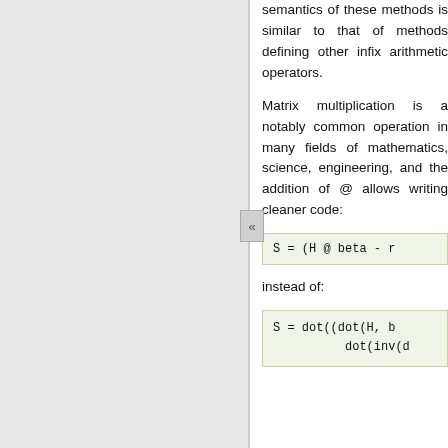semantics of these methods is similar to that of methods defining other infix arithmetic operators.
Matrix multiplication is a notably common operation in many fields of mathematics, science, engineering, and the addition of @ allows writing cleaner code:
instead of: